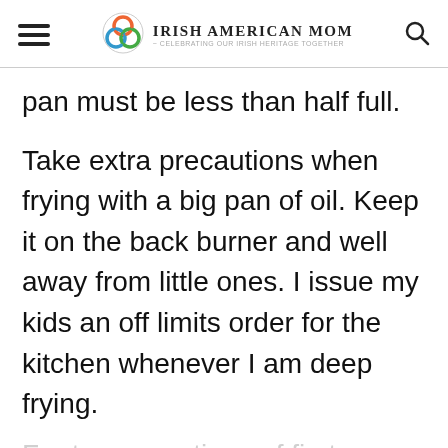Irish American Mom - Celebrating Our Irish Heritage Together
pan must be less than half full.
Take extra precautions when frying with a big pan of oil. Keep it on the back burner and well away from little ones. I issue my kids an off limits order for the kitchen whenever I am deep frying.
For tense cautions of first...